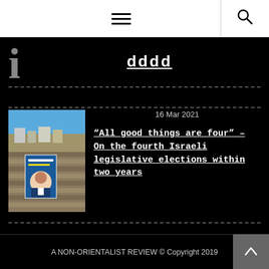Navigation header with hamburger menu and search icon
dddd
16 Mar 2021
[Figure (photo): Outdoor photo of stone wall with blue election campaign poster showing a political figure, with a city/settlement in the background under blue sky]
“All good things are four” – On the fourth Israeli legislative elections within two years
A NON-ORIENTALIST REVIEW © Copyright 2019